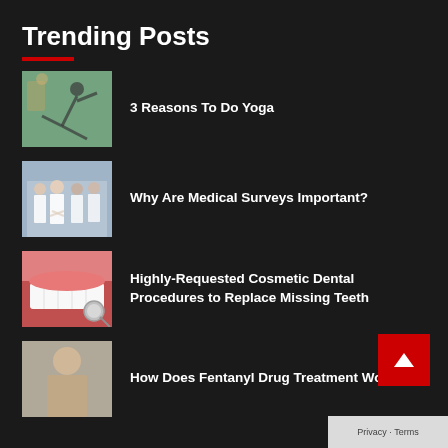Trending Posts
3 Reasons To Do Yoga
Why Are Medical Surveys Important?
Highly-Requested Cosmetic Dental Procedures to Replace Missing Teeth
How Does Fentanyl Drug Treatment Work?